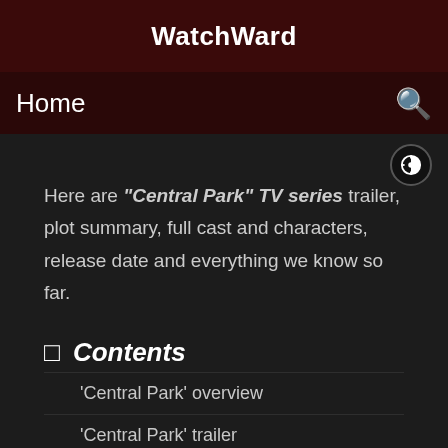WatchWard
Home
Here are "Central Park" TV series trailer, plot summary, full cast and characters, release date and everything we know so far.
□ Contents
'Central Park' overview
'Central Park' trailer
'Central Park' plot summary